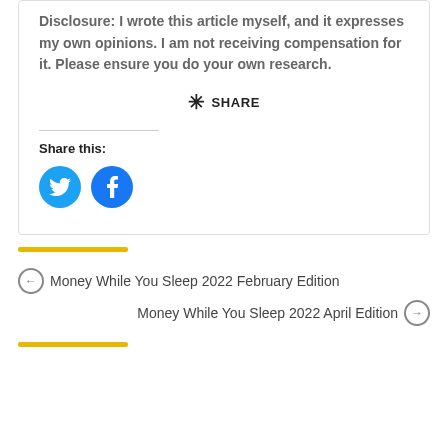Disclosure: I wrote this article myself, and it expresses my own opinions. I am not receiving compensation for it. Please ensure you do your own research.
✳ SHARE
Share this:
[Figure (other): Twitter and Facebook social share icon buttons (blue circles with white icons)]
← Money While You Sleep 2022 February Edition
Money While You Sleep 2022 April Edition →